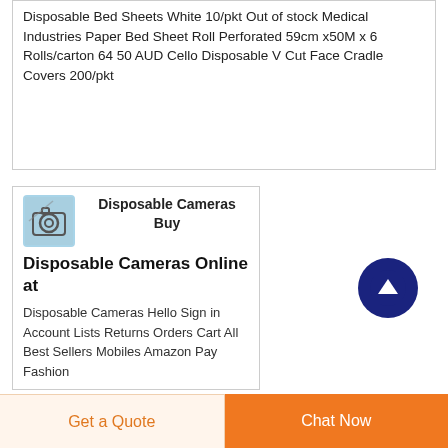Disposable Bed Sheets White 10/pkt Out of stock Medical Industries Paper Bed Sheet Roll Perforated 59cm x50M x 6 Rolls/carton 64 50 AUD Cello Disposable V Cut Face Cradle Covers 200/pkt
Disposable Cameras Buy Disposable Cameras Online at
[Figure (screenshot): Small thumbnail image of a disposable camera with blue/grey background]
Disposable Cameras Hello Sign in Account Lists Returns Orders Cart All Best Sellers Mobiles Amazon Pay Fashion
Get a Quote
Chat Now